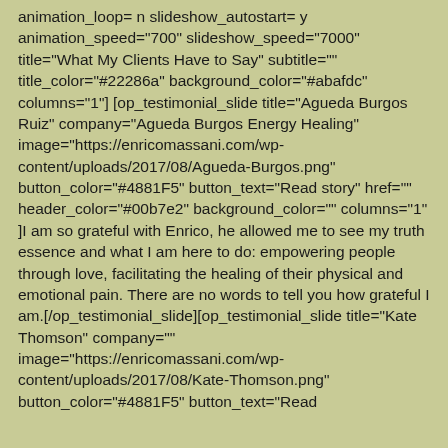animation_loop= n  slideshow_autostart= y animation_speed="700" slideshow_speed="7000" title="What My Clients Have to Say" subtitle="" title_color="#22286a" background_color="#abafdc" columns="1"] [op_testimonial_slide title="Agueda Burgos Ruiz" company="Agueda Burgos Energy Healing" image="https://enricomassani.com/wp-content/uploads/2017/08/Agueda-Burgos.png" button_color="#4881F5" button_text="Read story" href="" header_color="#00b7e2" background_color="" columns="1" ]I am so grateful with Enrico, he allowed me to see my truth essence and what I am here to do: empowering people through love, facilitating the healing of their physical and emotional pain. There are no words to tell you how grateful I am.[/op_testimonial_slide][op_testimonial_slide title="Kate Thomson" company="" image="https://enricomassani.com/wp-content/uploads/2017/08/Kate-Thomson.png" button_color="#4881F5" button_text="Read